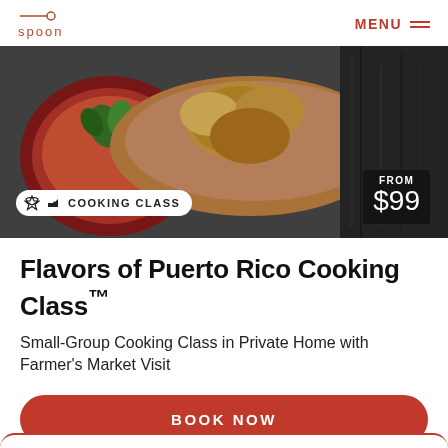spoon | MENU
[Figure (photo): Food photo showing a hand holding fried food and a bowl of red soup, with a 'COOKING CLASS' badge and 'FROM $99' price badge overlaid.]
Flavors of Puerto Rico Cooking Class™
Small-Group Cooking Class in Private Home with Farmer's Market Visit
BOOK NOW